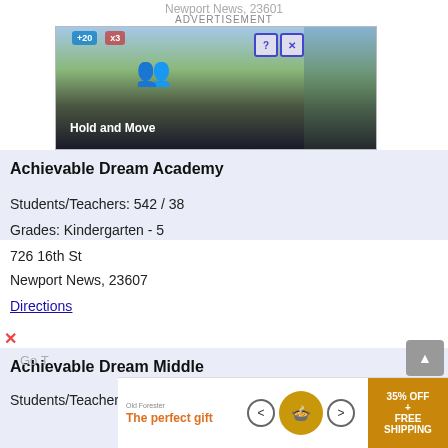Newport News, 23601
ADVERTISEMENT
[Figure (screenshot): Advertisement banner showing a dark game-style app with figures and text 'Hold and Move', with +20 and x3 overlays]
Achievable Dream Academy
Students/Teachers: 542 / 38
Grades: Kindergarten - 5
726 16th St
Newport News, 23607
Directions
Achievable Dream Middle
Students/Teachers: 218 / 14
Grades: 6 - 8
726 16th St
Newport News, 23607
Directions
[Figure (screenshot): Advertisement banner for Old Forester 'The perfect gift' with bowl of food and 35% OFF + FREE SHIPPING offer]